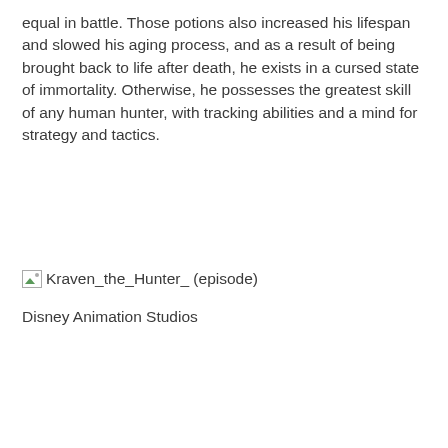equal in battle. Those potions also increased his lifespan and slowed his aging process, and as a result of being brought back to life after death, he exists in a cursed state of immortality. Otherwise, he possesses the greatest skill of any human hunter, with tracking abilities and a mind for strategy and tactics.
[Figure (illustration): Broken image placeholder for Kraven_the_Hunter_ (episode)]
Disney Animation Studios